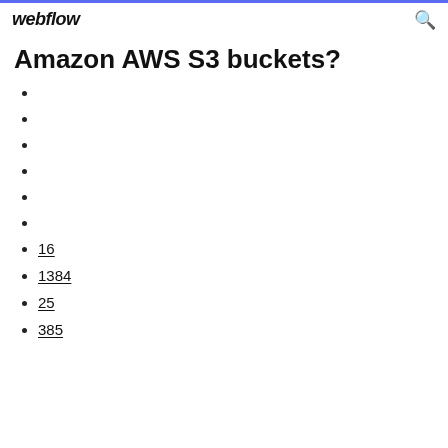webflow
Amazon AWS S3 buckets?
16
1384
25
385